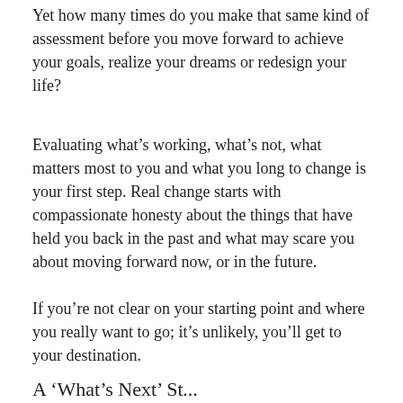Yet how many times do you make that same kind of assessment before you move forward to achieve your goals, realize your dreams or redesign your life?
Evaluating what’s working, what’s not, what matters most to you and what you long to change is your first step. Real change starts with compassionate honesty about the things that have held you back in the past and what may scare you about moving forward now, or in the future.
If you’re not clear on your starting point and where you really want to go; it’s unlikely, you’ll get to your destination.
A ’What’s Next’ St...